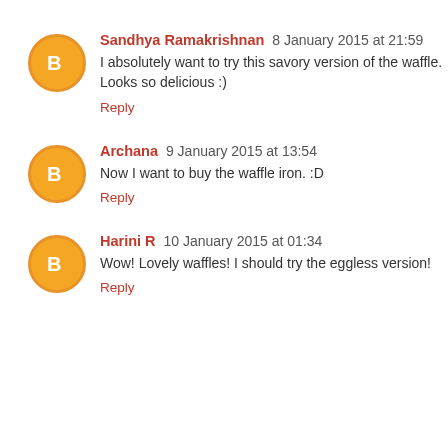Sandhya Ramakrishnan 8 January 2015 at 21:59
I absolutely want to try this savory version of the waffle. Looks so delicious :)
Reply
Archana 9 January 2015 at 13:54
Now I want to buy the waffle iron. :D
Reply
Harini R 10 January 2015 at 01:34
Wow! Lovely waffles! I should try the eggless version!
Reply